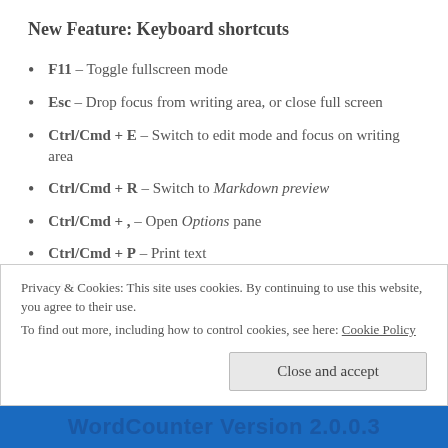New Feature: Keyboard shortcuts
F11 – Toggle fullscreen mode
Esc – Drop focus from writing area, or close full screen
Ctrl/Cmd + E – Switch to edit mode and focus on writing area
Ctrl/Cmd + R – Switch to Markdown preview
Ctrl/Cmd + , – Open Options pane
Ctrl/Cmd + P – Print text
Ctrl/Cmd + S – Save text to file
Privacy & Cookies: This site uses cookies. By continuing to use this website, you agree to their use. To find out more, including how to control cookies, see here: Cookie Policy
WordCounter Version 2.0.0.3